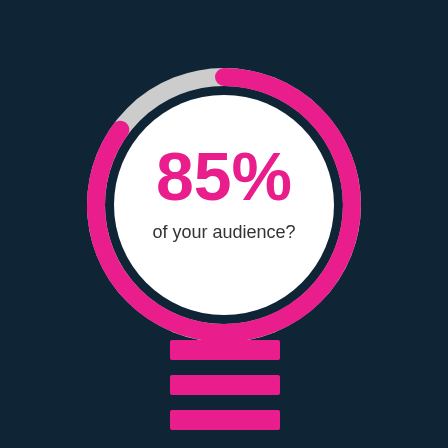[Figure (donut-chart): 85% of your audience?]